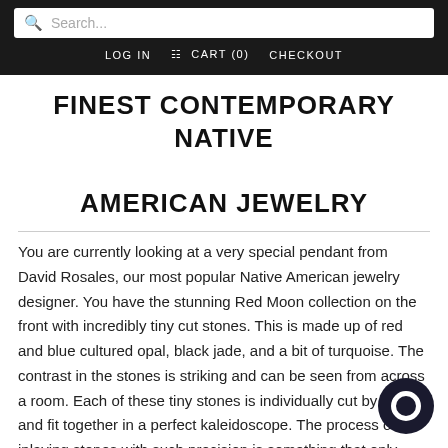Search... | LOG IN | CART (0) | CHECKOUT
FINEST CONTEMPORARY NATIVE AMERICAN JEWELRY
You are currently looking at a very special pendant from David Rosales, our most popular Native American jewelry designer. You have the stunning Red Moon collection on the front with incredibly tiny cut stones. This is made up of red and blue cultured opal, black jade, and a bit of turquoise. The contrast in the stones is striking and can be seen from across a room. Each of these tiny stones is individually cut by hand and fit together in a perfect kaleidoscope. The process of inlaying stones with such precision is something that only some of the most talented Native